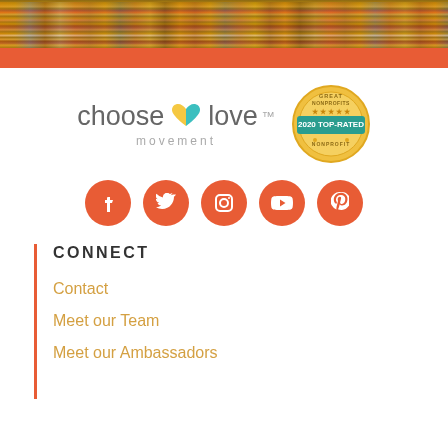[Figure (photo): Banner with photo of group of children, partially obscured by red/orange overlay bar]
[Figure (logo): Choose Love Movement logo with heart icon and Great Nonprofits 2020 Top-Rated badge]
[Figure (infographic): Five social media icons (Facebook, Twitter, Instagram, YouTube, Pinterest) as orange circles]
CONNECT
Contact
Meet our Team
Meet our Ambassadors